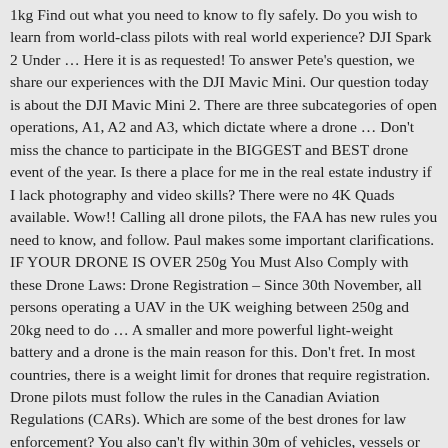1kg Find out what you need to know to fly safely. Do you wish to learn from world-class pilots with real world experience? DJI Spark 2 Under ... Here it is as requested! To answer Pete's question, we share our experiences with the DJI Mavic Mini. Our question today is about the DJI Mavic Mini 2. There are three subcategories of open operations, A1, A2 and A3, which dictate where a drone ... Don't miss the chance to participate in the BIGGEST and BEST drone event of the year. Is there a place for me in the real estate industry if I lack photography and video skills? There were no 4K Quads available. Wow!! Calling all drone pilots, the FAA has new rules you need to know, and follow. Paul makes some important clarifications. IF YOUR DRONE IS OVER 250g You Must Also Comply with these Drone Laws: Drone Registration – Since 30th November, all persons operating a UAV in the UK weighing between 250g and 20kg need to do ... A smaller and more powerful light-weight battery and a drone is the main reason for this. Don't fret. In most countries, there is a weight limit for drones that require registration. Drone pilots must follow the rules in the Canadian Aviation Regulations (CARs). Which are some of the best drones for law enforcement? You also can't fly within 30m of vehicles, vessels or people. This Drone is an exception to that rule. Uk Drone Rules Under 250g June 30, 2020 Anwar Picture 0 Uavs in agriculture rules and countries allow to fly this 249g drone camera